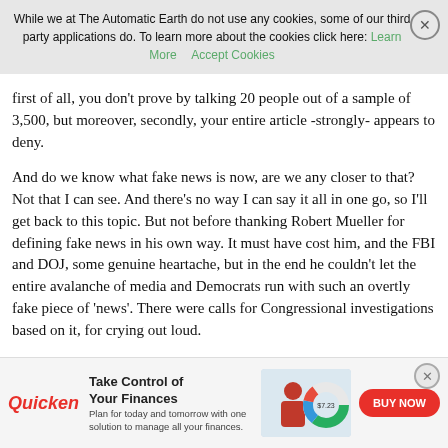While we at The Automatic Earth do not use any cookies, some of our third party applications do. To learn more about the cookies click here: Learn More  Accept Cookies
first of all, you don't prove by talking 20 people out of a sample of 3,500, but moreover, secondly, your entire article -strongly- appears to deny.
And do we know what fake news is now, are we any closer to that? Not that I can see. And there's no way I can say it all in one go, so I'll get back to this topic. But not before thanking Robert Mueller for defining fake news in his own way. It must have cost him, and the FBI and DOJ, some genuine heartache, but in the end he couldn't let the entire avalanche of media and Democrats run with such an overtly fake piece of 'news'. There were calls for Congressional investigations based on it, for crying out loud.
Speaking of which, crying out loud might be what you expect
[Figure (infographic): Quicken advertisement banner: 'Take Control of Your Finances. Plan for today and tomorrow with one solution to manage all your finances.' with BUY NOW button and image of woman at laptop with donut chart graphic.]